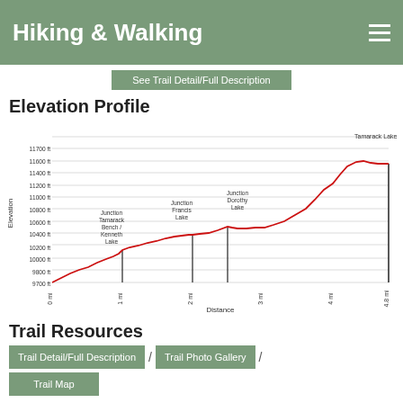Hiking & Walking
See Trail Detail/Full Description
Elevation Profile
[Figure (continuous-plot): Elevation profile chart showing a trail from 0 mi to 4.8 mi. Elevation starts around 9700 ft and rises to about 11600 ft at Tamarack Lake. Key waypoints marked: Junction Tamarack Bench/Kenneth Lake (~1 mi, ~10200 ft), Junction Francis Lake (~2 mi, ~10450 ft), Junction Dorothy Lake (~2.5 mi, ~10550 ft), Tamarack Lake (~4.8 mi, ~11600 ft). Y-axis: 9700 ft to 11700 ft. X-axis: 0 mi to 4.8 mi.]
Trail Resources
Trail Detail/Full Description
Trail Photo Gallery
Trail Map